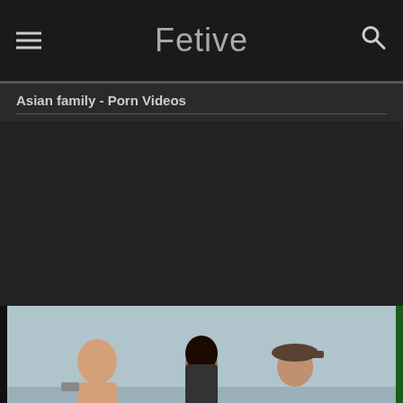Fetive
Asian family - Porn Videos
[Figure (photo): Video thumbnail showing three people outdoors near water, one bald man on the left, a woman in the center, and a man wearing a cap on the right]